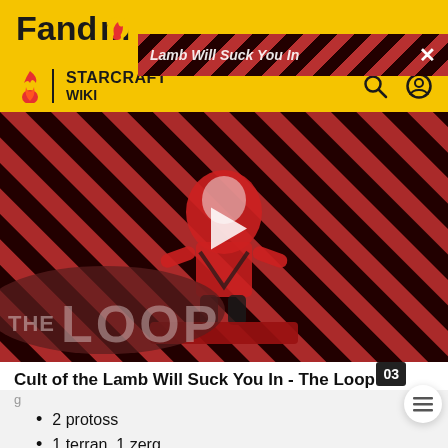Fandom | STARCRAFT WIKI
[Figure (screenshot): Video thumbnail for 'Cult of the Lamb Will Suck You In - The Loop' showing a game character on a striped background with a play button overlay and 'THE LOOP' text]
Cult of the Lamb Will Suck You In - The Loop
2 protoss
1 terran, 1 zerg
1 terran, 1 protoss
1 zerg, 1 protoss